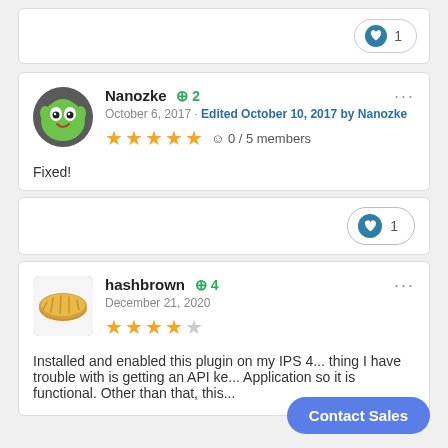[Figure (other): Like button with heart icon and count 1 at the top of the page]
[Figure (other): User avatar for Nanozke - cartoon green alien character]
Nanozke +2
October 6, 2017 · Edited October 10, 2017 by Nanozke
[Figure (other): 5 orange stars rating]
☺ 0 / 5 members
Fixed!
[Figure (other): Like button with heart icon and count 1]
[Figure (other): User avatar for hashbrown - hashbrown food photo]
hashbrown +4
December 21, 2020
[Figure (other): 4 orange stars rating (4 out of 5)]
Installed and enabled this plugin on my IPS 4... thing I have trouble with is getting an API ke... Application so it is functional. Other than that, this...
Contact Sales